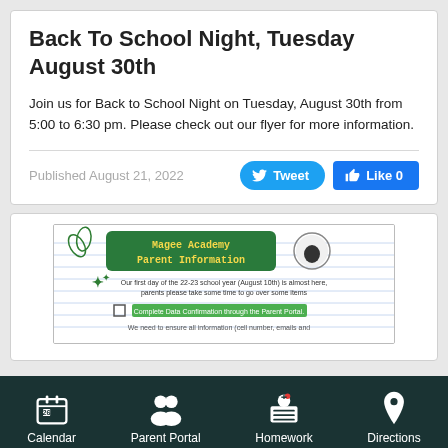Back To School Night, Tuesday August 30th
Join us for Back to School Night on Tuesday, August 30th from 5:00 to 6:30 pm. Please check out our flyer for more information.
Published August 21, 2022
[Figure (screenshot): Magee Academy Parent Information flyer preview showing green banner with yellow text, paw print logo, and checklist items]
Calendar  Parent Portal  Homework  Directions